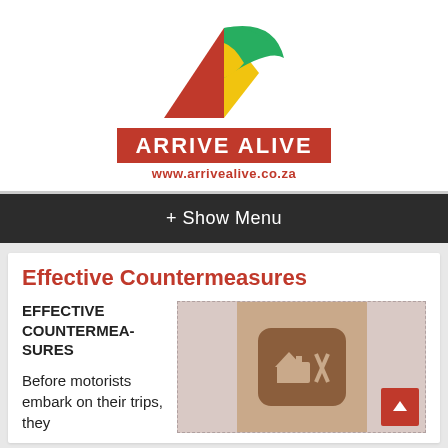[Figure (logo): Arrive Alive logo with triangular road graphic in red, yellow and green, red banner with white text 'ARRIVE ALIVE' and URL www.arrivealive.co.za]
+ Show Menu
Effective Countermeasures
EFFECTIVE COUNTERMEASURES
Before motorists embark on their trips, they
[Figure (photo): Road services sign icon showing shelter, fuel pump and restaurant symbols on a brown background]